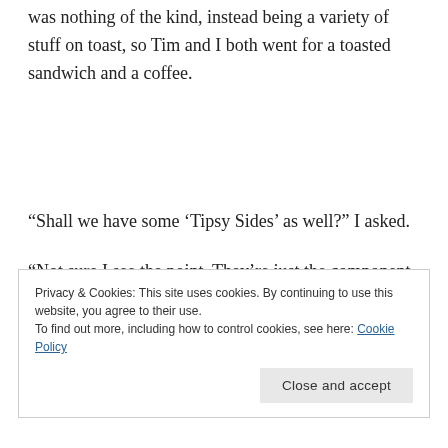was nothing of the kind, instead being a variety of stuff on toast, so Tim and I both went for a toasted sandwich and a coffee.
“Shall we have some ‘Tipsy Sides’ as well?” I asked.
“Not sure I see the point. They’re just the component
Privacy & Cookies: This site uses cookies. By continuing to use this website, you agree to their use.
To find out more, including how to control cookies, see here: Cookie Policy
Close and accept